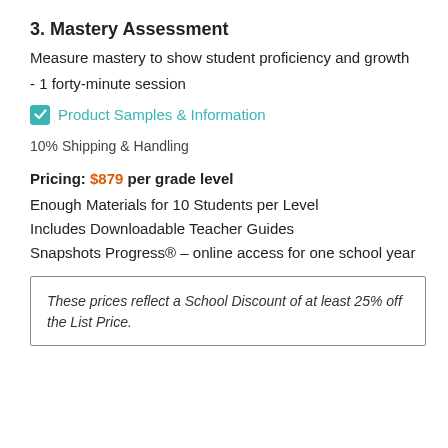3. Mastery Assessment
Measure mastery to show student proficiency and growth
- 1 forty-minute session
✓ Product Samples & Information
10% Shipping & Handling
Pricing: $879 per grade level
Enough Materials for 10 Students per Level
Includes Downloadable Teacher Guides
Snapshots Progress® – online access for one school year
These prices reflect a School Discount of at least 25% off the List Price.